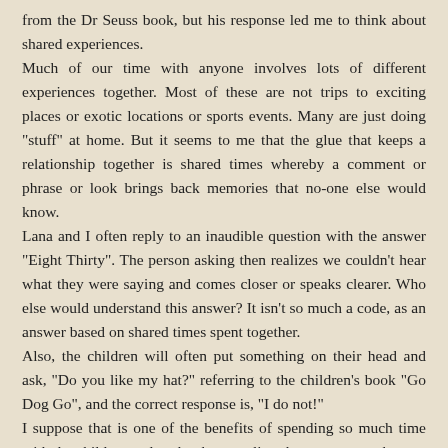from the Dr Seuss book, but his response led me to think about shared experiences.
Much of our time with anyone involves lots of different experiences together. Most of these are not trips to exciting places or exotic locations or sports events. Many are just doing "stuff" at home. But it seems to me that the glue that keeps a relationship together is shared times whereby a comment or phrase or look brings back memories that no-one else would know.
Lana and I often reply to an inaudible question with the answer "Eight Thirty". The person asking then realizes we couldn't hear what they were saying and comes closer or speaks clearer. Who else would understand this answer? It isn't so much a code, as an answer based on shared times spent together.
Also, the children will often put something on their head and ask, "Do you like my hat?" referring to the children's book "Go Dog Go", and the correct response is, "I do not!"
I suppose that is one of the benefits of spending so much time with the children and each other, our lives become so much more inter connected and more full of life as each little experience adds to the rich tapestry of each relationship.